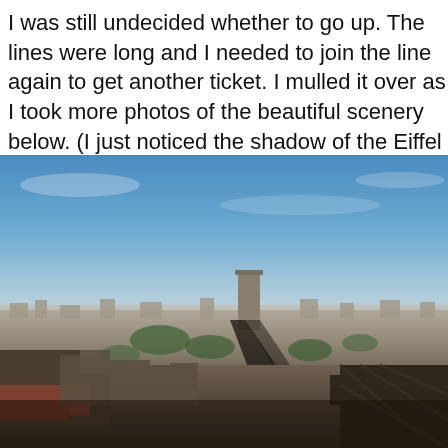I was still undecided whether to go up. The lines were long and I needed to join the line again to get another ticket. I mulled it over as I took more photos of the beautiful scenery below. (I just noticed the shadow of the Eiffel in this one.)
[Figure (photo): Aerial panoramic photograph of Paris cityscape taken from a high vantage point, showing dense urban buildings stretching to the horizon under a blue sky with light haze. The foreground shows the diagonal shadow of the Eiffel Tower cast across rooftops, with green trees and Haussmann-era buildings visible throughout the city.]